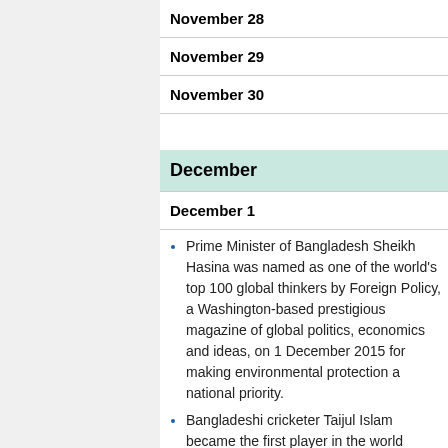| November 28 |
| November 29 |
| November 30 |
December
| December 1 |
Prime Minister of Bangladesh Sheikh Hasina was named as one of the world's top 100 global thinkers by Foreign Policy, a Washington-based prestigious magazine of global politics, economics and ideas, on 1 December 2015 for making environmental protection a national priority.
Bangladeshi cricketer Taijul Islam became the first player in the world